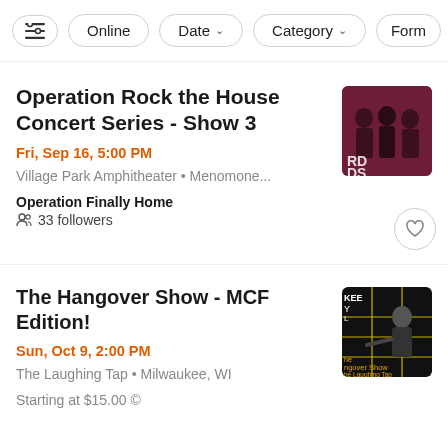Filter bar: [filter icon] Online  Date ▾  Category ▾  Form...
Operation Rock the House Concert Series - Show 3
Fri, Sep 16, 5:00 PM
Village Park Amphitheater • Menomone...
Operation Finally Home
33 followers
The Hangover Show - MCF Edition!
Sun, Oct 9, 2:00 PM
The Laughing Tap • Milwaukee, WI
Starting at $15.00 ©